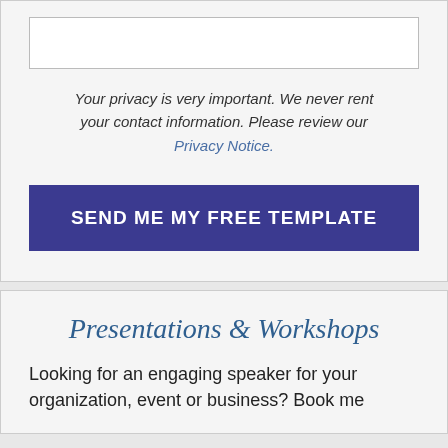Your privacy is very important. We never rent your contact information. Please review our Privacy Notice.
SEND ME MY FREE TEMPLATE
Presentations & Workshops
Looking for an engaging speaker for your organization, event or business? Book me